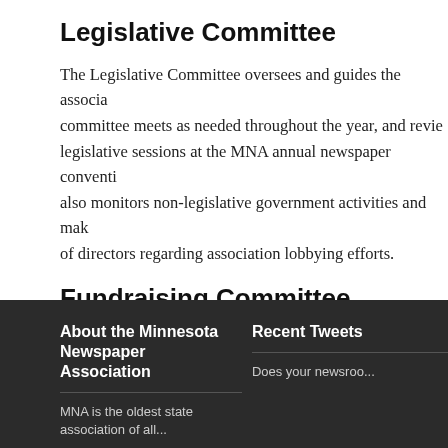Legislative Committee
The Legislative Committee oversees and guides the association's legislative activities. The committee meets as needed throughout the year, and reviews priorities for upcoming legislative sessions at the MNA annual newspaper convention each fall. The committee also monitors non-legislative government activities and makes recommendations to the board of directors regarding association lobbying efforts.
Fundraising Committee
The Fundraising Committee develops strategies and programs to support the MNA Foundation and its education arm, the Minnesota News Media Institute.
If you would like to join an MNA Committee, please contact Lisa Hills at 61...
About the Minnesota Newspaper Association
Recent Tweets
MNA is the oldest state newspaper association of all...
Does your newsroom...